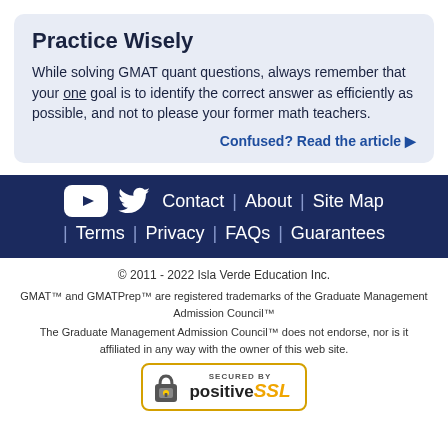Practice Wisely
While solving GMAT quant questions, always remember that your one goal is to identify the correct answer as efficiently as possible, and not to please your former math teachers.
Confused? Read the article ▶
Contact | About | Site Map | Terms | Privacy | FAQs | Guarantees
© 2011 - 2022 Isla Verde Education Inc.
GMAT™ and GMATPrep™ are registered trademarks of the Graduate Management Admission Council™
The Graduate Management Admission Council™ does not endorse, nor is it affiliated in any way with the owner of this web site.
[Figure (logo): Secured by PositiveSSL badge with padlock icon]